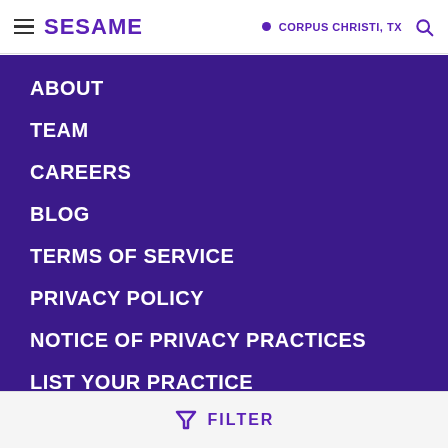SESAME  CORPUS CHRISTI, TX
ABOUT
TEAM
CAREERS
BLOG
TERMS OF SERVICE
PRIVACY POLICY
NOTICE OF PRIVACY PRACTICES
LIST YOUR PRACTICE
FOR EMPLOYERS
PARTNERS
FILTER